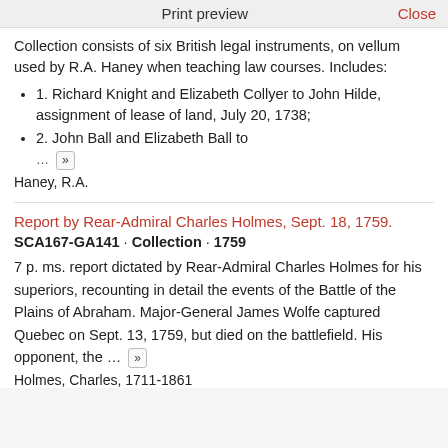Print preview    Close
Collection consists of six British legal instruments, on vellum used by R.A. Haney when teaching law courses. Includes:
1. Richard Knight and Elizabeth Collyer to John Hilde, assignment of lease of land, July 20, 1738;
2. John Ball and Elizabeth Ball to ... »
Haney, R.A.
Report by Rear-Admiral Charles Holmes, Sept. 18, 1759.
SCA167-GA141 · Collection · 1759
7 p. ms. report dictated by Rear-Admiral Charles Holmes for his superiors, recounting in detail the events of the Battle of the Plains of Abraham. Major-General James Wolfe captured Quebec on Sept. 13, 1759, but died on the battlefield. His opponent, the ... »
Holmes, Charles, 1711-1861